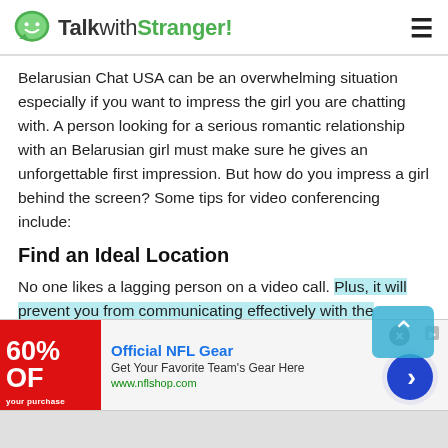TalkwithStranger!
Belarusian Chat USA can be an overwhelming situation especially if you want to impress the girl you are chatting with. A person looking for a serious romantic relationship with an Belarusian girl must make sure he gives an unforgettable first impression. But how do you impress a girl behind the screen? Some tips for video conferencing include:
Find an Ideal Location
No one likes a lagging person on a video call. Plus, it will prevent you from communicating effectively with the
[Figure (screenshot): Advertisement banner for Official NFL Gear showing 50% OFF promotion with NFL shop URL]